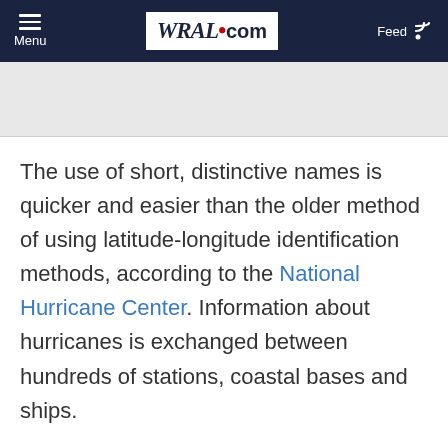Menu  WRAL.com  Feed
[Figure (other): Gray advertisement/banner placeholder area]
The use of short, distinctive names is quicker and easier than the older method of using latitude-longitude identification methods, according to the National Hurricane Center. Information about hurricanes is exchanged between hundreds of stations, coastal bases and ships.
Easy to remember names help reduce